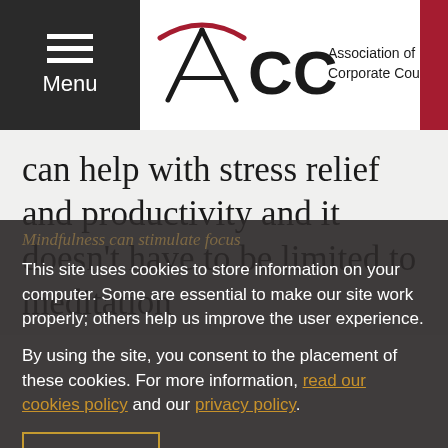Menu | ACC Association of Corporate Counsel | Login
can help with stress relief and productivity and it doesn't have to be limited to meditation
Mindfulness can stimulate focus
This site uses cookies to store information on your computer. Some are essential to make our site work properly; others help us improve the user experience.
By using the site, you consent to the placement of these cookies. For more information, read our cookies policy and our privacy policy.
Accept